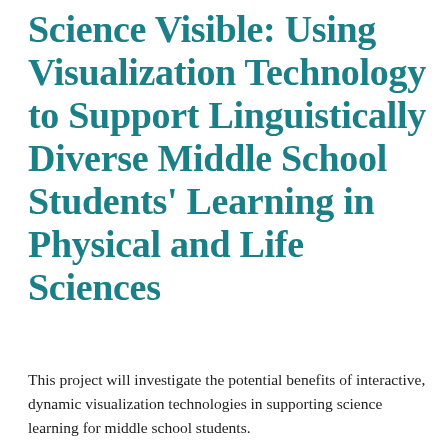Science Visible: Using Visualization Technology to Support Linguistically Diverse Middle School Students' Learning in Physical and Life Sciences
This project will investigate the potential benefits of interactive, dynamic visualization technologies in supporting science learning for middle school students.